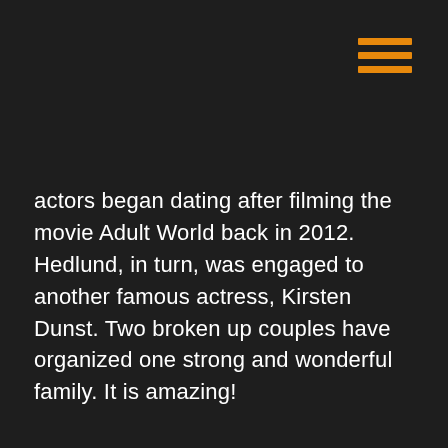[Figure (other): Orange hamburger menu icon (three horizontal bars) in top right corner]
actors began dating after filming the movie Adult World back in 2012. Hedlund, in turn, was engaged to another famous actress, Kirsten Dunst. Two broken up couples have organized one strong and wonderful family. It is amazing!